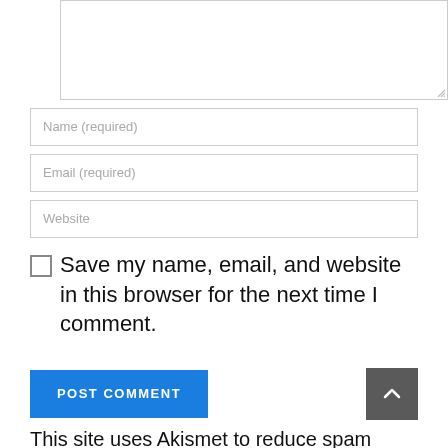[Figure (screenshot): Textarea input field (comment box) with resize handle at bottom right]
Name (required)
Email (required)
Website
Save my name, email, and website in this browser for the next time I comment.
POST COMMENT
[Figure (other): Scroll-to-top button with upward chevron arrow on dark gray background]
This site uses Akismet to reduce spam